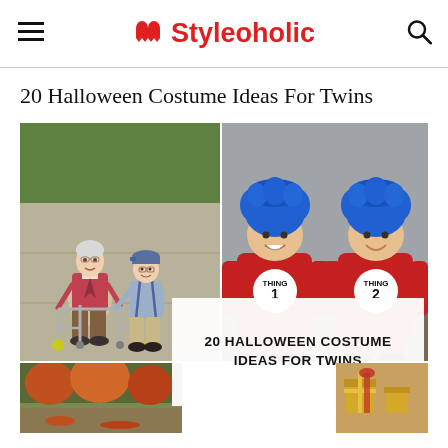Styleoholic
20 Halloween Costume Ideas For Twins
[Figure (photo): Collage of two children in Halloween costumes: left photo shows two toddlers dressed as elderly people with a walker; right photo shows two children dressed as Thing 1 and Thing 2 from Dr. Seuss with blue wigs and red suits. Below is a white text overlay reading '20 HALLOWEEN COSTUME IDEAS FOR TWINS', with partial photos of more costumes at the bottom.]